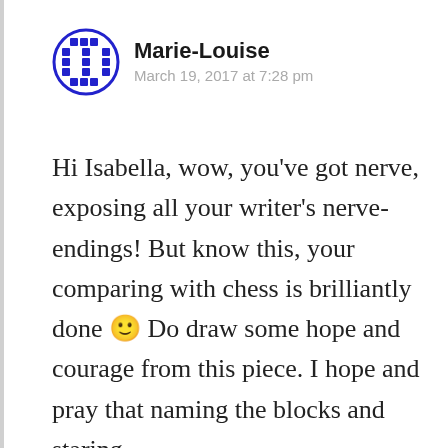[Figure (illustration): Blue circular avatar with a grid/waffle pattern of blue squares forming a circle shape, resembling a decorative avatar icon.]
Marie-Louise
March 19, 2017 at 7:28 pm
Hi Isabella, wow, you've got nerve, exposing all your writer's nerve-endings! But know this, your comparing with chess is brilliantly done 🙂 Do draw some hope and courage from this piece. I hope and pray that naming the blocks and staring